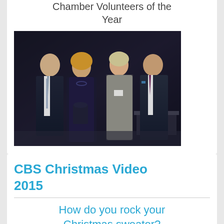Chamber Volunteers of the Year
[Figure (photo): Four people standing together at an event, two men and two women, one woman holding an award trophy, dark curtain background]
CBS Christmas Video 2015
How do you rock your Christmas sweater?